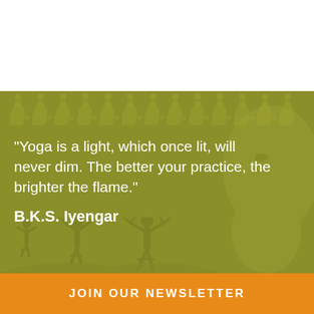[Figure (illustration): Decorative olive/green background with mandala border pattern at top, faint Buddha face silhouette on right, yoga pose silhouettes at bottom left, forming an inspirational quote graphic.]
“Yoga is a light, which once lit, will never dim. The better your practice, the brighter the flame.”
B.K.S. Iyengar
JOIN OUR NEWSLETTER